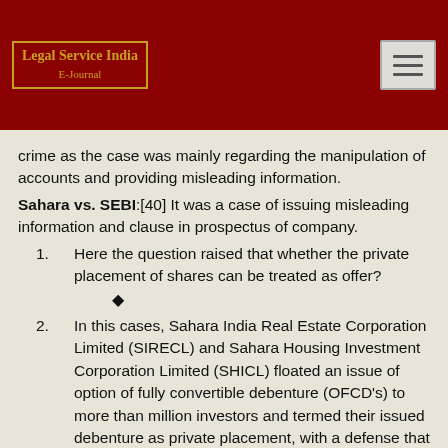[Figure (logo): Legal Service India E-Journal logo in gold text on dark red background with gold border]
crime as the case was mainly regarding the manipulation of accounts and providing misleading information.
Sahara vs. SEBI:[40] It was a case of issuing misleading information and clause in prospectus of company.
1. Here the question raised that whether the private placement of shares can be treated as offer? ◆
2. In this cases, Sahara India Real Estate Corporation Limited (SIRECL) and Sahara Housing Investment Corporation Limited (SHICL) floated an issue of option of fully convertible debenture (OFCD’s) to more than million investors and termed their issued debenture as private placement, with a defense that the company did not intend to get their OFCD’s listed because the security which have been issued is a Hybrid Security. ◆
3. During this period, the company had total collection of over Rs. 17,656 crore. This amount was collected